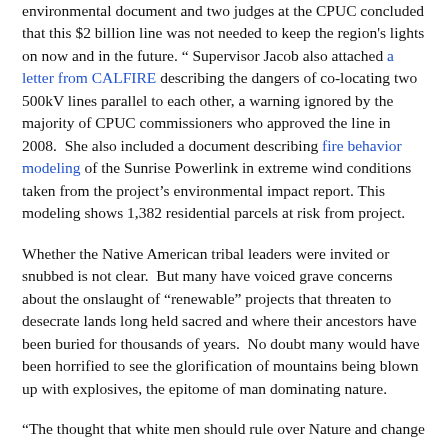environmental document and two judges at the CPUC concluded that this $2 billion line was not needed to keep the region's lights on now and in the future. " Supervisor Jacob also attached a letter from CALFIRE describing the dangers of co-locating two 500kV lines parallel to each other, a warning ignored by the majority of CPUC commissioners who approved the line in 2008.  She also included a document describing fire behavior modeling of the Sunrise Powerlink in extreme wind conditions taken from the project's environmental impact report. This modeling shows 1,382 residential parcels at risk from project.
Whether the Native American tribal leaders were invited or snubbed is not clear.  But many have voiced grave concerns about the onslaught of "renewable" projects that threaten to desecrate lands long held sacred and where their ancestors have been buried for thousands of years.  No doubt many would have been horrified to see the glorification of mountains being blown up with explosives, the epitome of man dominating nature.
“The thought that white men should rule over Nature and change